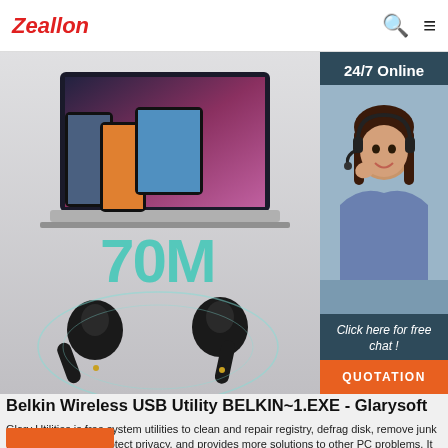Zeallon
[Figure (screenshot): Product promotional image showing wireless earbuds (TWS) in foreground and multiple mobile phones and tablets/laptops in background, with '70M' teal text overlay. Sidebar shows '24/7 Online' with female customer service representative wearing headset, 'Click here for free chat!' text and orange QUOTATION button.]
Belkin Wireless USB Utility BELKIN~1.EXE - Glarysoft
Glary Utilities is free system utilities to clean and repair registry, defrag disk, remove junk files, fix PC errors, protect privacy, and provides more solutions to other PC problems. It is a free, powerful and all-in-one utility in the world market!